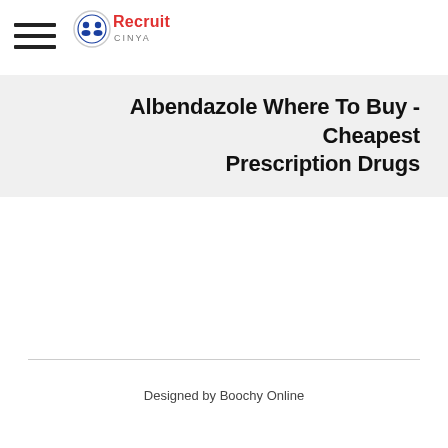Recruit | Albendazole Where To Buy - Cheapest Prescription Drugs
Albendazole Where To Buy - Cheapest Prescription Drugs
Designed by Boochy Online